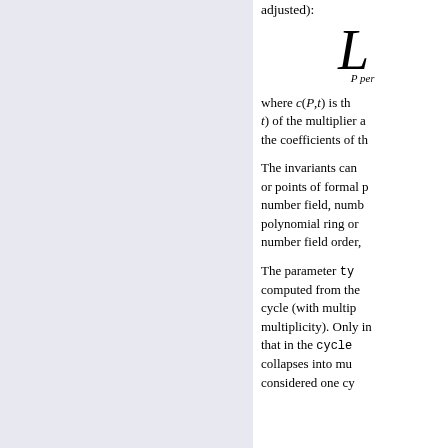adjusted):
where c(P,t) is th... t) of the multiplier a... the coefficients of th...
The invariants can ... or points of formal p... number field, numb... polynomial ring or ... number field order,
The parameter ty... computed from the... cycle (with multip... multiplicity). Only in... that in the cycle ... collapses into mu... considered one cy...